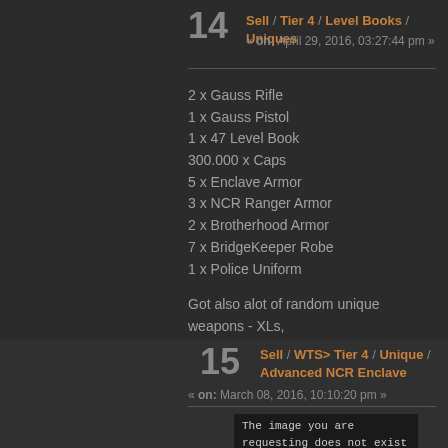14 Sell / Tier 4 / Level Books / Uniques « on: April 29, 2016, 03:27:44 pm »
2 x Gauss Rifle
1 x Gauss Pistol
1 x 47 Level Book
300.000 x Caps
5 x Enclave Armor
3 x NCR Ranger Armor
2 x Brotherhood Armor
7 x BridgeKeeper Robe
1 x Police Uniform
Got also alot of random unique weapons - XLs, LSWs, Avengers, Laser Rifles etc.
No lowbob offers, only PM, all stuff random quality ain't gonna elaborate on every item.
15 Sell / WTS> Tier 4 / Unique / Advanced NCR Enclave « on: March 08, 2016, 10:10:20 pm »
[Figure (screenshot): Broken image placeholder with text: The image you are requesting does not exist or is no longer available.]